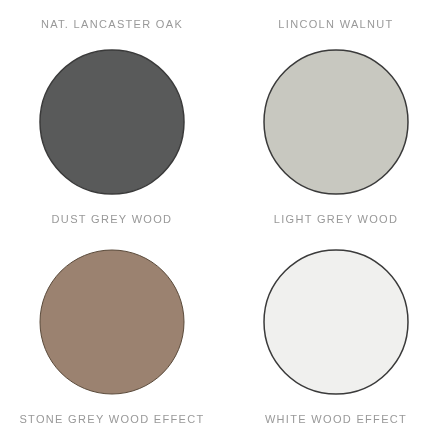NAT. LANCASTER OAK
LINCOLN WALNUT
[Figure (illustration): Dark grey filled circle representing Dust Grey Wood color swatch]
[Figure (illustration): Light grey filled circle with dark outline representing Light Grey Wood color swatch]
DUST GREY WOOD
LIGHT GREY WOOD
[Figure (illustration): Taupe/brown filled circle representing Stone Grey Wood Effect color swatch]
[Figure (illustration): Near-white filled circle with dark outline representing White Wood Effect color swatch]
STONE GREY WOOD EFFECT
WHITE WOOD EFFECT